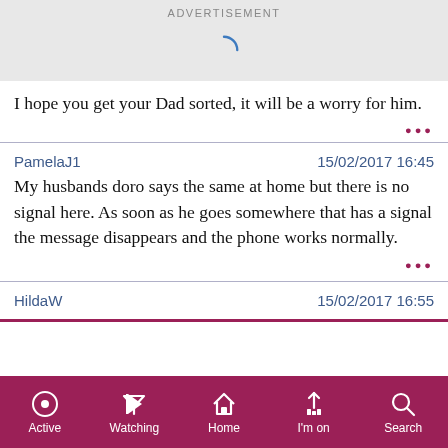ADVERTISEMENT
[Figure (other): Loading spinner (partial arc) in advertisement area]
I hope you get your Dad sorted, it will be a worry for him.
PamelaJ1    15/02/2017 16:45
My husbands doro says the same at home but there is no signal here. As soon as he goes somewhere that has a signal the message disappears and the phone works normally.
HildaW    15/02/2017 16:55
Active  Watching  Home  I'm on  Search